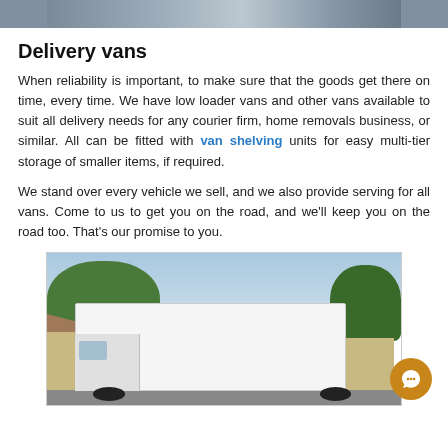[Figure (photo): Partial photo of a vehicle at the top of the page (cropped, only bottom portion visible)]
Delivery vans
When reliability is important, to make sure that the goods get there on time, every time. We have low loader vans and other vans available to suit all delivery needs for any courier firm, home removals business, or similar. All can be fitted with van shelving units for easy multi-tier storage of smaller items, if required.
We stand over every vehicle we sell, and we also provide serving for all vans. Come to us to get you on the road, and we'll keep you on the road too. That's our promise to you.
[Figure (photo): Photo of a large white box delivery van parked on a residential street with houses and trees in background]